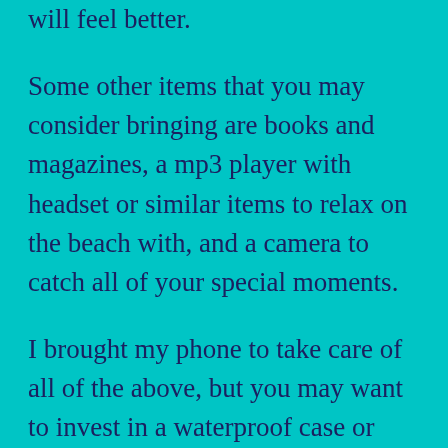will feel better.
Some other items that you may consider bringing are books and magazines, a mp3 player with headset or similar items to relax on the beach with, and a camera to catch all of your special moments.
I brought my phone to take care of all of the above, but you may want to invest in a waterproof case or pouch if you are planning on this option.
Please remember if you are participating in the Trainer for a Day